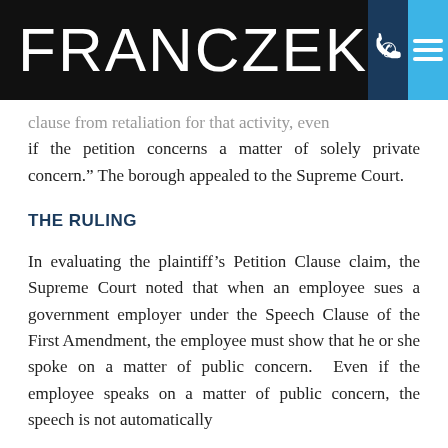FRANCZEK
clause from retaliation for that activity, even if the petition concerns a matter of solely private concern.” The borough appealed to the Supreme Court.
THE RULING
In evaluating the plaintiff’s Petition Clause claim, the Supreme Court noted that when an employee sues a government employer under the Speech Clause of the First Amendment, the employee must show that he or she spoke on a matter of public concern. Even if the employee speaks on a matter of public concern, the speech is not automatically